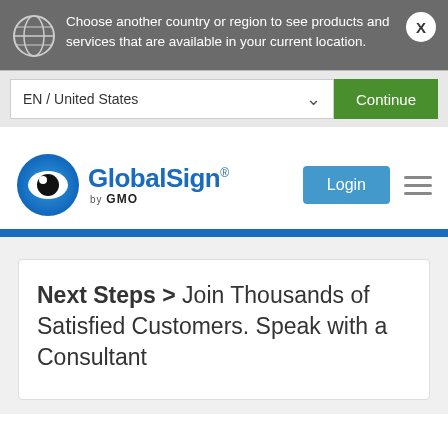Choose another country or region to see products and services that are available in your current location.
EN / United States
Continue
[Figure (logo): GlobalSign by GMO logo with blue eye icon]
Login
Next Steps > Join Thousands of Satisfied Customers. Speak with a Consultant